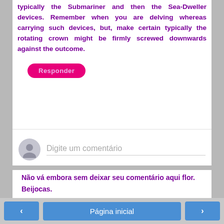typically the Submariner and then the Sea-Dweller devices. Remember when you are delving whereas carrying such devices, but, make certain typically the rotating crown might be firmly screwed downwards against the outcome.
[Figure (other): Pink rounded button labeled 'Responder']
[Figure (other): Comment input area with grey avatar icon and placeholder text 'Digite um comentário']
Não vá embora sem deixar seu comentário aqui flor.
Beijocas.
‹   Página inicial   ›